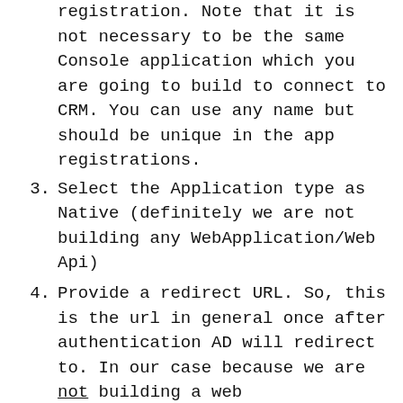registration. Note that it is not necessary to be the same Console application which you are going to build to connect to CRM. You can use any name but should be unique in the app registrations.
3. Select the Application type as Native (definitely we are not building any WebApplication/Web Api)
4. Provide a redirect URL. So, this is the url in general once after authentication AD will redirect to. In our case because we are not building a web application/api (basically non windows native application), we are free to use any kind of url. It doesn't need to be a real end point but should follow a proper URL pattern. Here is how I have created my